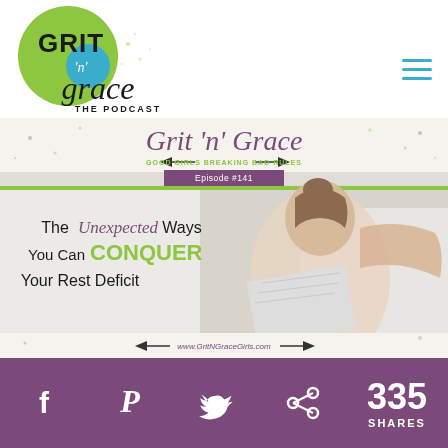[Figure (logo): Grit 'n' Grace The Podcast logo — green circle with GRIT text, teal circle with 'n', and script 'grace' text below with 'THE PODCAST' subtitle]
[Figure (illustration): Podcast episode banner image for Episode #141 — 'The Unexpected Ways You Can CONQUER Your Rest Deficit' with Grit 'n' Grace Good Girls Breaking Bad Rules branding, showing a woman reading a newspaper on a couch]
[Figure (infographic): Social sharing bar with Facebook, Pinterest, Twitter, share icons and 335 SHARES count on purple background]